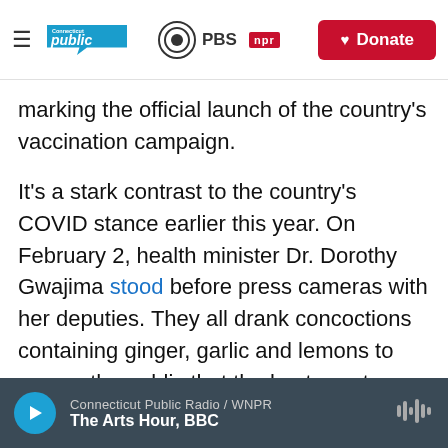Connecticut Public | PBS | NPR — Donate
marking the official launch of the country's vaccination campaign.
It's a stark contrast to the country's COVID stance earlier this year. On February 2, health minister Dr. Dorothy Gwajima stood before press cameras with her deputies. They all drank concoctions containing ginger, garlic and lemons to assure the public that the best way to beat the coronavirus was through natural remedies.
"The government has no plans to receive
Connecticut Public Radio / WNPR — The Arts Hour, BBC